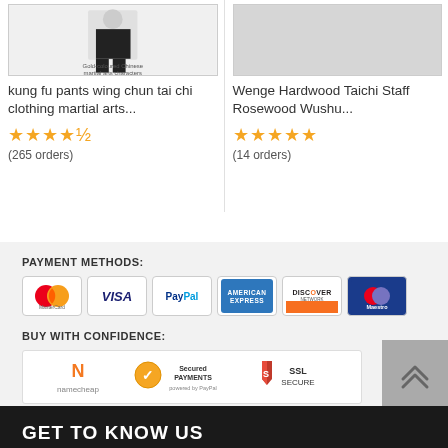[Figure (photo): Product image of kung fu pants wing chun tai chi clothing martial arts - shows a person wearing black martial arts pants with Chinese characters visible]
kung fu pants wing chun tai chi clothing martial arts...
[Figure (illustration): Star rating: 4.5 out of 5 stars]
(265 orders)
[Figure (photo): Product image of Wenge Hardwood Taichi Staff Rosewood Wushu - light colored background]
Wenge Hardwood Taichi Staff Rosewood Wushu...
[Figure (illustration): Star rating: 5 out of 5 stars]
(14 orders)
PAYMENT METHODS:
[Figure (logo): Payment method icons: MasterCard, Visa, PayPal, American Express, Discover Network, Maestro]
BUY WITH CONFIDENCE:
[Figure (logo): Trust badges: Namecheap, Secured Payments powered by PayPal, SSL SECURE]
GET TO KNOW US